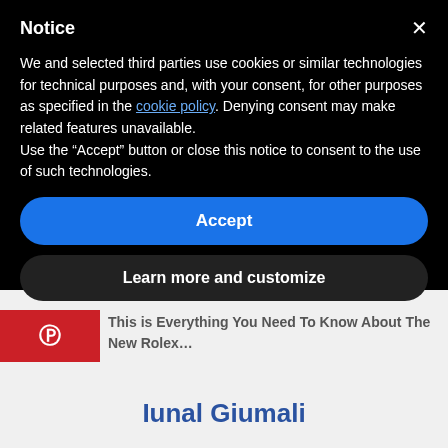Notice
We and selected third parties use cookies or similar technologies for technical purposes and, with your consent, for other purposes as specified in the cookie policy. Denying consent may make related features unavailable.
Use the “Accept” button or close this notice to consent to the use of such technologies.
Accept
Learn more and customize
This is Everything You Need To Know About The New Rolex…
Iunal Giumali